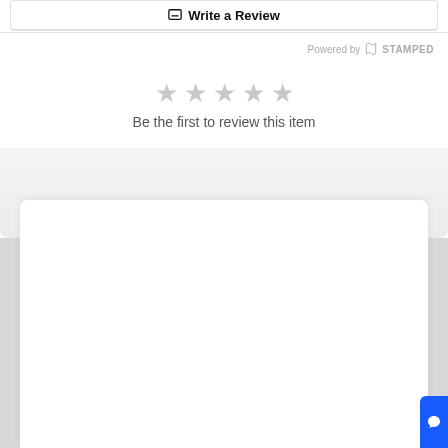Write a Review
Powered by STAMPED
★ ★ ★ ★ ★
Be the first to review this item